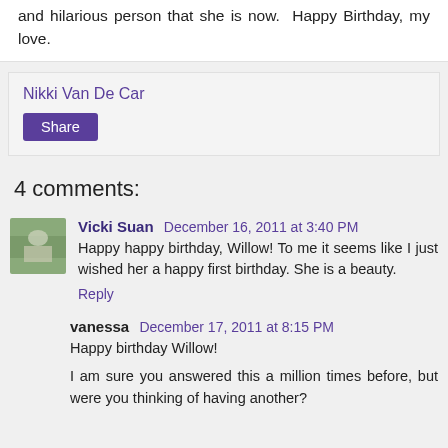and hilarious person that she is now.  Happy Birthday, my love.
Nikki Van De Car
[Figure (other): Share button]
4 comments:
Vicki Suan  December 16, 2011 at 3:40 PM
Happy happy birthday, Willow! To me it seems like I just wished her a happy first birthday. She is a beauty.
Reply
vanessa  December 17, 2011 at 8:15 PM
Happy birthday Willow!
I am sure you answered this a million times before, but were you thinking of having another?